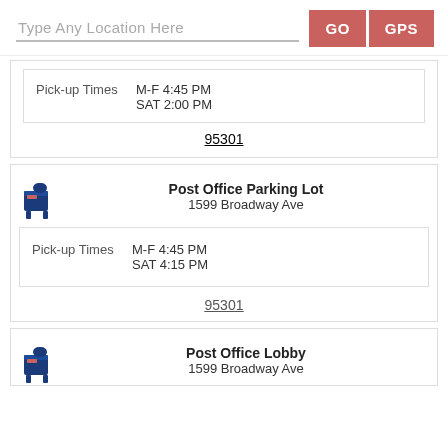[Figure (screenshot): Search bar with placeholder 'Type Any Location Here' and GO and GPS buttons]
Pick-up Times   M-F 4:45 PM   SAT 2:00 PM
95301
Post Office Parking Lot
1599 Broadway Ave
Pick-up Times   M-F 4:45 PM   SAT 4:15 PM
95301
Post Office Lobby
1599 Broadway Ave